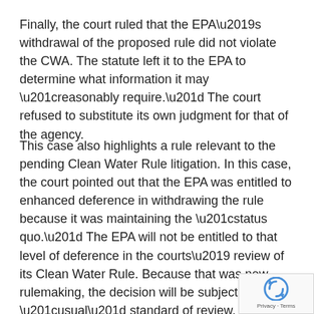Finally, the court ruled that the EPA’s withdrawal of the proposed rule did not violate the CWA. The statute left it to the EPA to determine what information it may “reasonably require.” The court refused to substitute its own judgment for that of the agency.
This case also highlights a rule relevant to the pending Clean Water Rule litigation. In this case, the court pointed out that the EPA was entitled to enhanced deference in withdrawing the rule because it was maintaining the “status quo.” The EPA will not be entitled to that level of deference in the courts’ review of its Clean Water Rule. Because that was new rulemaking, the decision will be subject to the “usual” standard of review. This will involve determining whether the rulemaking was, among other things, arbitrary, capricious, an abuse of discretion, contrary to the law, or in excess of statutory jurisdiction.
[Figure (logo): reCAPTCHA badge with Privacy and Terms links]